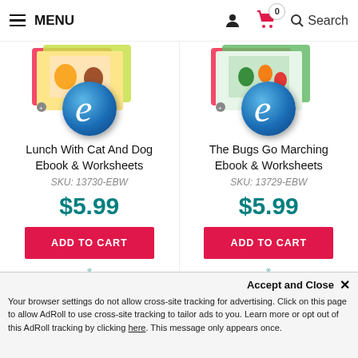MENU | Search
[Figure (screenshot): Product image for Lunch With Cat And Dog Ebook & Worksheets with blue 'e' logo badge]
Lunch With Cat And Dog Ebook & Worksheets
SKU: 13730-EBW
$5.99
ADD TO CART
[Figure (screenshot): Product image for The Bugs Go Marching Ebook & Worksheets with blue 'e' logo badge]
The Bugs Go Marching Ebook & Worksheets
SKU: 13729-EBW
$5.99
ADD TO CART
Your browser settings do not allow cross-site tracking for advertising. Click on this page to allow AdRoll to use cross-site tracking to tailor ads to you. Learn more or opt out of this AdRoll tracking by clicking here. This message only appears once.